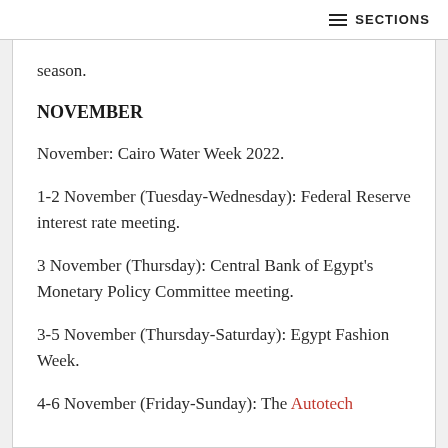≡ SECTIONS
season.
NOVEMBER
November: Cairo Water Week 2022.
1-2 November (Tuesday-Wednesday): Federal Reserve interest rate meeting.
3 November (Thursday): Central Bank of Egypt's Monetary Policy Committee meeting.
3-5 November (Thursday-Saturday): Egypt Fashion Week.
4-6 November (Friday-Sunday): The Autotech